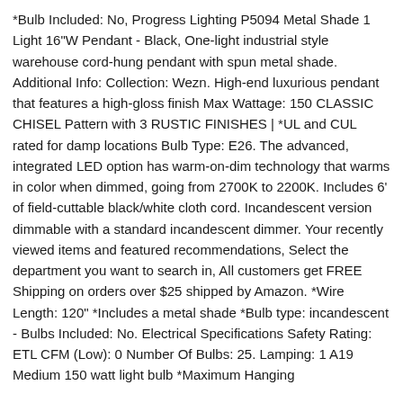*Bulb Included: No, Progress Lighting P5094 Metal Shade 1 Light 16"W Pendant - Black, One-light industrial style warehouse cord-hung pendant with spun metal shade. Additional Info: Collection: Wezn. High-end luxurious pendant that features a high-gloss finish Max Wattage: 150 CLASSIC CHISEL Pattern with 3 RUSTIC FINISHES | *UL and CUL rated for damp locations Bulb Type: E26. The advanced, integrated LED option has warm-on-dim technology that warms in color when dimmed, going from 2700K to 2200K. Includes 6' of field-cuttable black/white cloth cord. Incandescent version dimmable with a standard incandescent dimmer. Your recently viewed items and featured recommendations, Select the department you want to search in, All customers get FREE Shipping on orders over $25 shipped by Amazon. *Wire Length: 120" *Includes a metal shade *Bulb type: incandescent - Bulbs Included: No. Electrical Specifications Safety Rating: ETL CFM (Low): 0 Number Of Bulbs: 25. Lamping: 1 A19 Medium 150 watt light bulb *Maximum Hanging